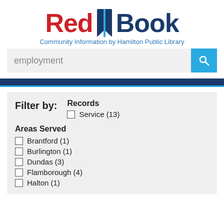[Figure (logo): Red Book logo with red 'Red' text, blue bookmark icon, and dark blue 'Book' text]
Community Information by Hamilton Public Library
employment
Filter by:
Records
Service (13)
Areas Served
Brantford (1)
Burlington (1)
Dundas (3)
Flamborough (4)
Halton (1)